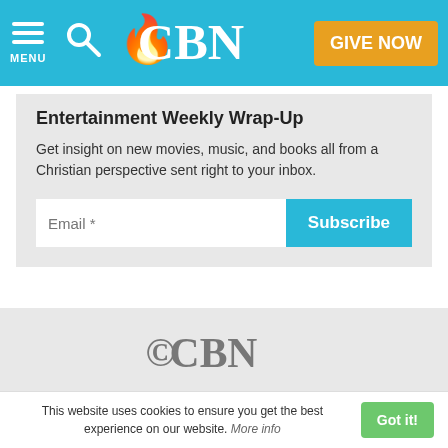MENU | CBN | GIVE NOW
Entertainment Weekly Wrap-Up
Get insight on new movies, music, and books all from a Christian perspective sent right to your inbox.
Email * [Subscribe button]
[Figure (logo): CBN logo in grey on light grey background]
THE CHRISTIAN BROADCASTING NETWORK
Know Jesus?
This website uses cookies to ensure you get the best experience on our website. More info